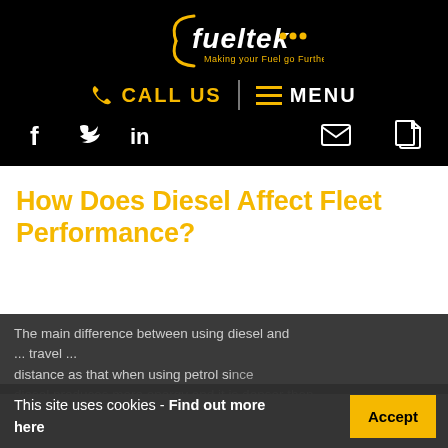[Figure (logo): Fueltek logo with text 'fueltek ...' and tagline 'Making your Fuel go Further' on black background]
CALL US | MENU
f  twitter  in  email  document icons
How Does Diesel Affect Fleet Performance?
The main difference between using diesel and ... travel ... distance as that when using petrol since diesel produces more energy and it is denser than
This site uses cookies - Find out more here
Accept